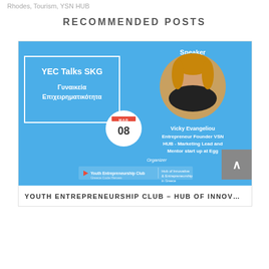Rhodes, Tourism, YSN HUB
RECOMMENDED POSTS
[Figure (photo): YEC Talks SKG promotional image featuring speaker Vicky Evangeliou, Entrepreneur Founder VSN HUB - Marketing Lead and Mentor start up at Egg. Blue background with white-bordered text box showing 'YEC Talks SKG - Γυναικεία Επιχειρηματικότητα', calendar icon showing date 08, circular speaker photo, and organizer logos.]
YOUTH ENTREPRENEURSHIP CLUB – HUB OF INNOV…